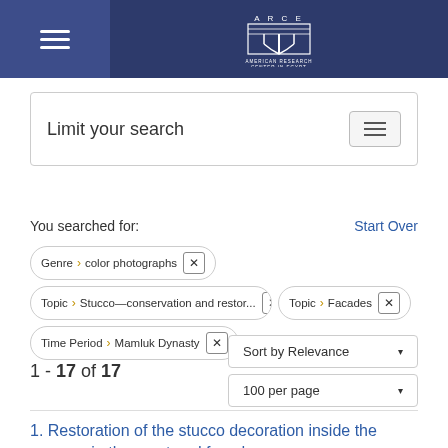[Figure (logo): ARCE American Research Center in Egypt logo in white on dark blue header bar]
Limit your search
You searched for:
Start Over
Genre > color photographs ×
Topic > Stucco—conservation and restor... × Topic > Facades ×
Time Period > Mamluk Dynasty ×
1 - 17 of 17
Sort by Relevance ▾
100 per page ▾
1. Restoration of the stucco decoration inside the mosque in the courtyard facade